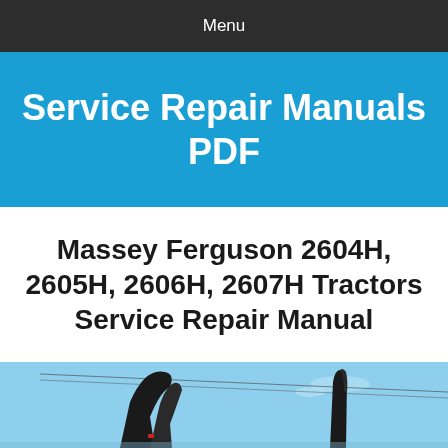Menu
Service Repair Manuals PDF
Massey Ferguson 2604H, 2605H, 2606H, 2607H Tractors Service Repair Manual
[Figure (photo): Massey Ferguson tractor front loader arms photographed against a blue sky, with power lines visible in the background.]